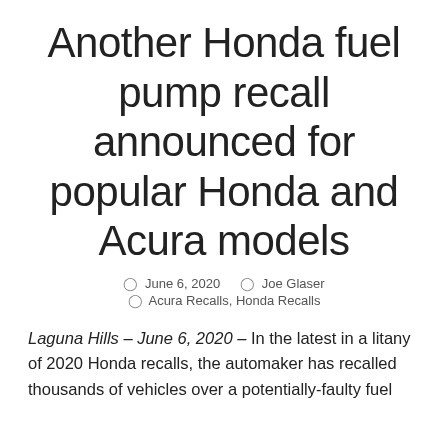Another Honda fuel pump recall announced for popular Honda and Acura models
June 6, 2020   Joe Glaser   Acura Recalls, Honda Recalls
Laguna Hills – June 6, 2020 – In the latest in a litany of 2020 Honda recalls, the automaker has recalled thousands of vehicles over a potentially-faulty fuel